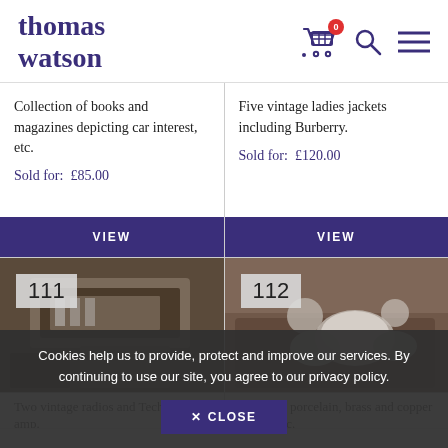thomas watson
Collection of books and magazines depicting car interest, etc.
Sold for: £85.00
Five vintage ladies jackets including Burberry.
Sold for: £120.00
[Figure (photo): Lot 111 - vintage radios and Technics amp photo]
[Figure (photo): Lot 112 - Victorian porcelain, brass and copper teapot photo]
Two vintage radios and Technics amp.
Victorian porcelain, brass and copper teapot, etc.
Cookies help us to provide, protect and improve our services. By continuing to use our site, you agree to our privacy policy.